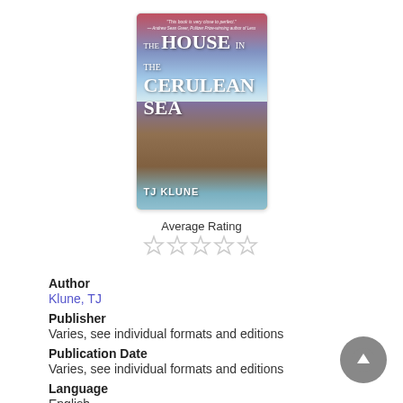[Figure (illustration): Book cover of 'The House in the Cerulean Sea' by TJ Klune, showing a fantasy cliffside landscape with a house, colorful sky, and the title text.]
Average Rating
[Figure (other): Five empty/outline star rating icons representing average rating of 0 or unrated.]
Author
Klune, TJ
Publisher
Varies, see individual formats and editions
Publication Date
Varies, see individual formats and editions
Language
English